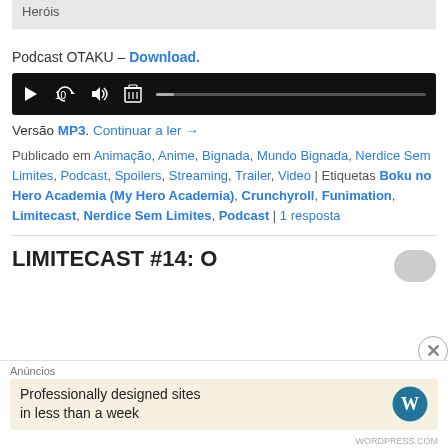Heróis
Podcast OTAKU – Download.
[Figure (other): Audio player bar with play, replay 10s, volume, and delete icons, plus a progress track on black background]
Versão MP3. Continuar a ler →
Publicado em Animação, Anime, Bignada, Mundo Bignada, Nerdice Sem Limites, Podcast, Spoilers, Streaming, Trailer, Video | Etiquetas Boku no Hero Academia (My Hero Academia), Crunchyroll, Funimation, Limitecast, Nerdice Sem Limites, Podcast | 1 resposta
LIMITECAST #14: O
Anúncios
Professionally designed sites in less than a week